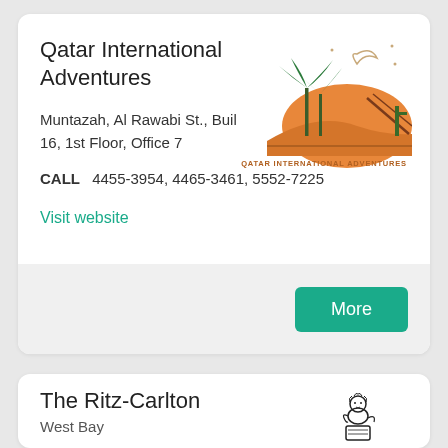Qatar International Adventures
Muntazah, Al Rawabi St., Building 16, 1st Floor, Office 7
CALL  4455-3954, 4465-3461, 5552-7225
Visit website
[Figure (logo): Qatar International Adventures logo: desert scene with palm trees, moon and stars, orange dunes, with text 'QATAR INTERNATIONAL ADVENTURES' below]
More
The Ritz-Carlton
West Bay
[Figure (logo): The Ritz-Carlton lion logo emblem]